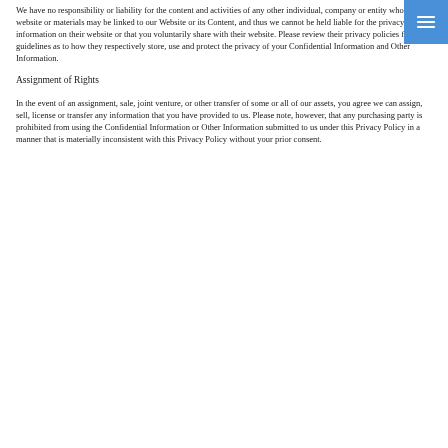We have no responsibility or liability for the content and activities of any other individual, company or entity whose website or materials may be linked to our Website or its Content, and thus we cannot be held liable for the privacy of the information on their website or that you voluntarily share with their website. Please review their privacy policies for guidelines as to how they respectively store, use and protect the privacy of your Confidential Information and Other Information.
Assignment of Rights
In the event of an assignment, sale, joint venture, or other transfer of some or all of our assets, you agree we can assign, sell, license or transfer any information that you have provided to us. Please note, however, that any purchasing party is prohibited from using the Confidential Information or Other Information submitted to us under this Privacy Policy in a manner that is materially inconsistent with this Privacy Policy without your prior consent.